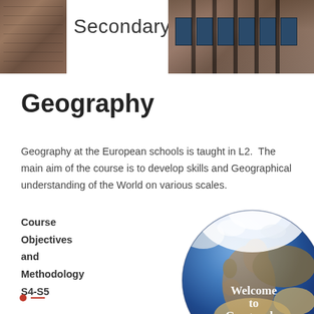[Figure (photo): Header photo strip: left portion shows brick school building facade; center shows 'Secondary' text; right portion shows school building with dark window frames and brick exterior]
Geography
Geography at the European schools is taught in L2.  The main aim of the course is to develop skills and Geographical understanding of the World on various scales.
Course Objectives and Methodology S4-S5
[Figure (illustration): Globe showing Europe and North Atlantic, with white text overlay reading 'Welcome to Geography']